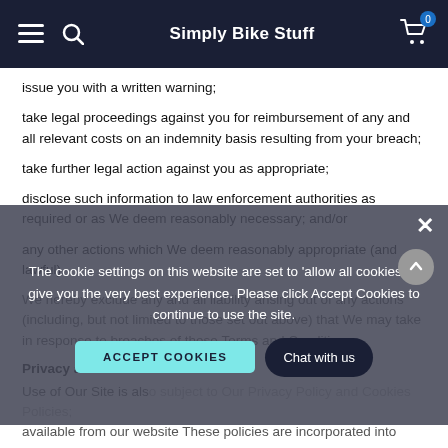Simply Bike Stuff
issue you with a written warning;
take legal proceedings against you for reimbursement of any and all relevant costs on an indemnity basis resulting from your breach;
take further legal action against you as appropriate;
disclose such information to law enforcement authorities as required or as We deem reasonably necessary; and/or
any other actions which We deem reasonably appropriate (and lawful).
We hereby exclude any and all liability arising out of any actions (including, but not limited to those set out above) that We may take in response to breaches of these Terms and Conditions
Privacy and Cookies
Use of Our Site is also subject to Our Privacy Policy and Cookies Policy, available from our website These policies are incorporated into these Terms and Conditions by this reference.
The cookie settings on this website are set to 'allow all cookies' to give you the very best experience. Please click Accept Cookies to continue to use the site.